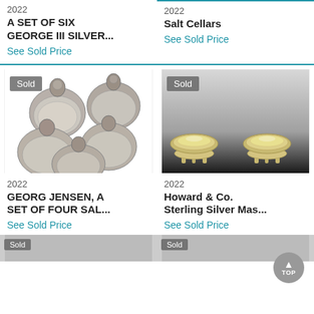2022
A SET OF SIX GEORGE III SILVER...
See Sold Price
2022
Salt Cellars
See Sold Price
[Figure (photo): Silver Georg Jensen salt cellars with ornate handles, Sold badge]
[Figure (photo): Howard & Co. sterling silver footed salt cellars, Sold badge]
2022
GEORG JENSEN, A SET OF FOUR SAL...
See Sold Price
2022
Howard & Co. Sterling Silver Mas...
See Sold Price
[Figure (photo): Partial view of sold item at bottom left]
[Figure (photo): Partial view of sold item at bottom right]